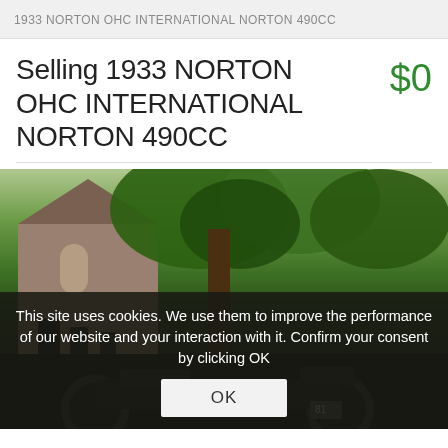1933 NORTON OHC INTERNATIONAL NORTON 490CC
Selling 1933 NORTON OHC INTERNATIONAL NORTON 490CC
$0
[Figure (photo): Outdoor photograph of a vintage motorcycle parked in a churchyard/cemetery setting with tombstones, a church building, and lush green trees in the background. A cookie consent overlay partially covers the image.]
This site uses cookies. We use them to improve the performance of our website and your interaction with it. Confirm your consent by clicking OK
OK